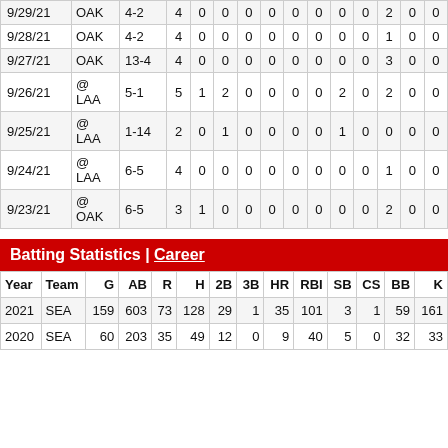| Date | Opp | Score | AB | R | H | 2B | 3B | HR | RBI | SB | CS | BB | K |
| --- | --- | --- | --- | --- | --- | --- | --- | --- | --- | --- | --- | --- | --- |
| 9/29/21 | OAK | 4-2 | 4 | 0 | 0 | 0 | 0 | 0 | 0 | 0 | 0 | 2 | 0 | 0 |
| 9/28/21 | OAK | 4-2 | 4 | 0 | 0 | 0 | 0 | 0 | 0 | 0 | 0 | 1 | 0 | 0 |
| 9/27/21 | OAK | 13-4 | 4 | 0 | 0 | 0 | 0 | 0 | 0 | 0 | 0 | 3 | 0 | 0 |
| 9/26/21 | @ LAA | 5-1 | 5 | 1 | 2 | 0 | 0 | 0 | 0 | 2 | 0 | 2 | 0 | 0 |
| 9/25/21 | @ LAA | 1-14 | 2 | 0 | 1 | 0 | 0 | 0 | 0 | 1 | 0 | 0 | 0 | 0 |
| 9/24/21 | @ LAA | 6-5 | 4 | 0 | 0 | 0 | 0 | 0 | 0 | 0 | 0 | 1 | 0 | 0 |
| 9/23/21 | @ OAK | 6-5 | 3 | 1 | 0 | 0 | 0 | 0 | 0 | 0 | 0 | 2 | 0 | 0 |
Batting Statistics | Career
| Year | Team | G | AB | R | H | 2B | 3B | HR | RBI | SB | CS | BB | K |
| --- | --- | --- | --- | --- | --- | --- | --- | --- | --- | --- | --- | --- | --- |
| 2021 | SEA | 159 | 603 | 73 | 128 | 29 | 1 | 35 | 101 | 3 | 1 | 59 | 161 |
| 2020 | SEA | 60 | 203 | 35 | 49 | 12 | 0 | 9 | 40 | 5 | 0 | 32 | 33 |